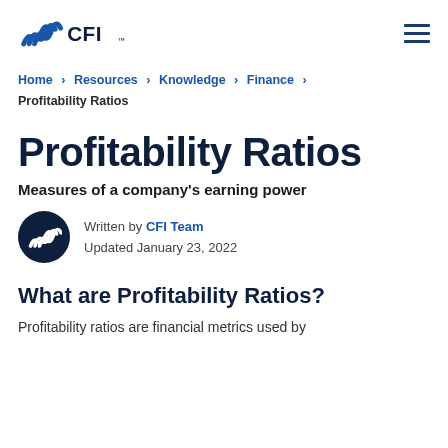CFI (logo) — navigation header with hamburger menu
Home › Resources › Knowledge › Finance › Profitability Ratios
Profitability Ratios
Measures of a company's earning power
Written by CFI Team
Updated January 23, 2022
What are Profitability Ratios?
Profitability ratios are financial metrics used by